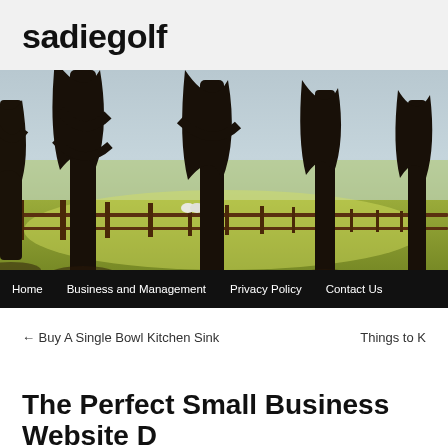sadiegolf
[Figure (photo): Outdoor scene with large bare trees lining a wooden fence across a green field, with sheep visible in the background and golden light filtering through.]
Home  Business and Management  Privacy Policy  Contact Us
← Buy A Single Bowl Kitchen Sink
Things to K
The Perfect Small Business Website D